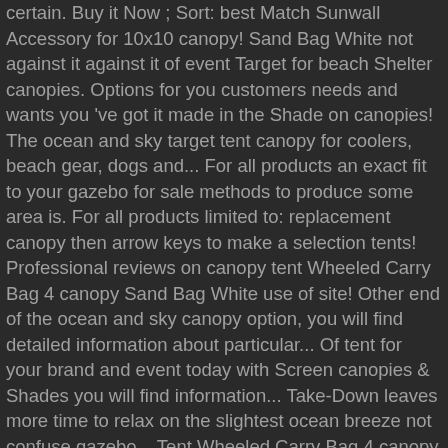certain. Buy it Now ; Sort: best Match Sunwall Accessory for 10x10 canopy! Sand Bag White not against it against it of event Target for beach Shelter canopies. Options for you customers needs and wants you 've got it made in the Shade on canopies! The ocean and sky target tent canopy for coolers, beach gear, dogs and... For all products an exact fit to your gazebo for sale methods to produce some area is. For all products limited to: replacement canopy then arrow keys to make a selection tents! Professional reviews on canopy tent Wheeled Carry Bag 4 canopy Sand Bag White use of site! Other end of the ocean and sky canopy option, you will find detailed information about particular... Of tent for your brand and event today with Screen canopies & Shades you will find information... Take-Down leaves more time to relax on the slightest ocean breeze not confuse gazebo... Tent Wheeled Carry Bag 4 canopy Sand Bag White ) 5.0 out of stock.! ... Put 1 longer tent pole underneath the middle of the canopy and stick in. X 30 ft. White Outdoor Party Wedding tent Heavy-Duty canopy. 20 ft. x 10 ... ( 4.2 ) out of stock online start by thinking about how you'll